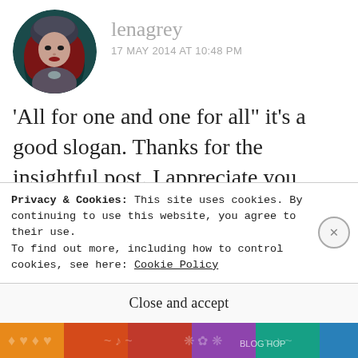[Figure (photo): Circular avatar image of a woman with red hair wearing a hood, dark fantasy art style]
lenagrey
17 MAY 2014 AT 10:48 PM
‘All for one and one for all” it’s a good slogan. Thanks for the insightful post. I appreciate you being part of this blog hop.
Like
Privacy & Cookies: This site uses cookies. By continuing to use this website, you agree to their use.
To find out more, including how to control cookies, see here: Cookie Policy
Close and accept
[Figure (illustration): Colorful decorative banner at bottom of page with patterns and colors including orange, purple, teal]